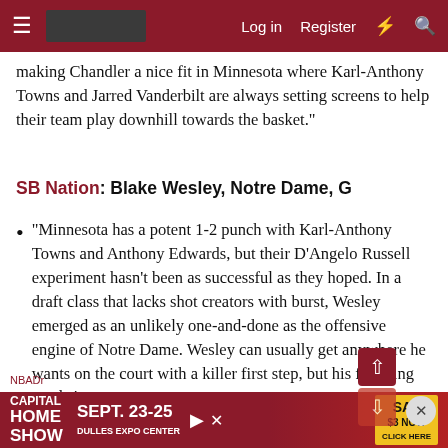Log in   Register
making Chandler a nice fit in Minnesota where Karl-Anthony Towns and Jarred Vanderbilt are always setting screens to help their team play downhill towards the basket."
SB Nation: Blake Wesley, Notre Dame, G
"Minnesota has a potent 1-2 punch with Karl-Anthony Towns and Anthony Edwards, but their D'Angelo Russell experiment hasn't been as successful as they hoped. In a draft class that lacks shot creators with burst, Wesley emerged as an unlikely one-and-done as the offensive engine of Notre Dame. Wesley can usually get anywhere he wants on the court with a killer first step, but his finishing needs improvement.
CAPITAL HOME SHOW SEPT. 23-25 DULLES EXPO CENTER SAV $3 NOW CLICK HERE